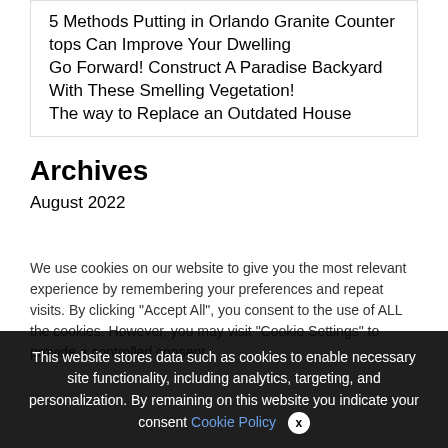5 Methods Putting in Orlando Granite Counter tops Can Improve Your Dwelling
Go Forward! Construct A Paradise Backyard With These Smelling Vegetation!
The way to Replace an Outdated House
Archives
August 2022
We use cookies on our website to give you the most relevant experience by remembering your preferences and repeat visits. By clicking "Accept All", you consent to the use of ALL the cookies. However, you may visit "Cookie Settings" to provide a controlled consent.
This website stores data such as cookies to enable necessary site functionality, including analytics, targeting, and personalization. By remaining on this website you indicate your consent Cookie Policy